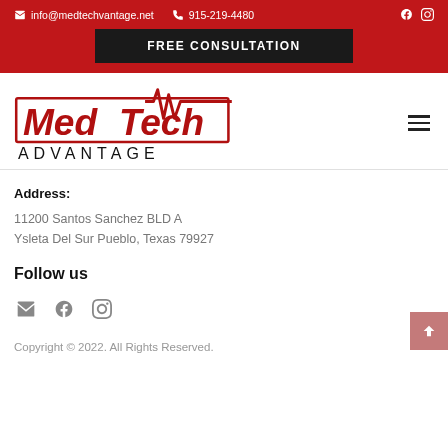info@medtechvantage.net  915-219-4480
FREE CONSULTATION
[Figure (logo): MedTech Advantage logo with red EKG line graphic and ADVANTAGE text below]
Address:
11200 Santos Sanchez BLD A
Ysleta Del Sur Pueblo, Texas 79927
Follow us
[Figure (other): Social media icons: email, facebook, instagram]
Copyright © 2022. All Rights Reserved.